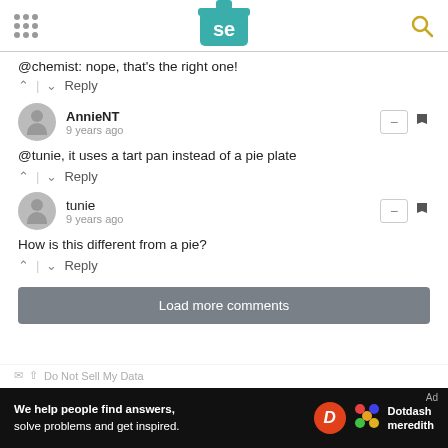SE logo and navigation header
@chemist: nope, that's the right one!
^ | v  Reply
AnnieNT
9 years ago
@tunie, it uses a tart pan instead of a pie plate
^ | v  Reply
tunie
9 years ago
How is this different from a pie?
^ | v  Reply
Load more comments
[Figure (screenshot): Ad banner: 'We help people find answers, solve problems and get inspired.' with Dotdash Meredith logo]